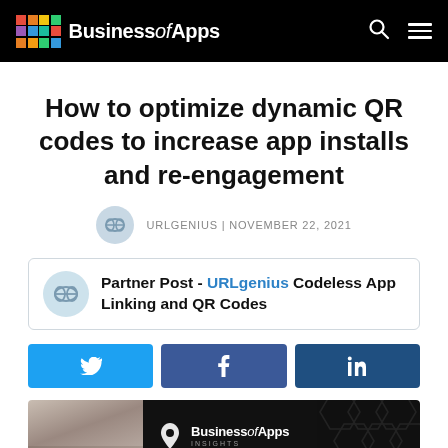BusinessofApps
How to optimize dynamic QR codes to increase app installs and re-engagement
URLGENIUS | NOVEMBER 22, 2021
Partner Post - URLgenius Codeless App Linking and QR Codes
[Figure (other): Social share buttons: Twitter, Facebook, LinkedIn]
[Figure (photo): Business of Apps Insights banner image with hexagonal pattern background]